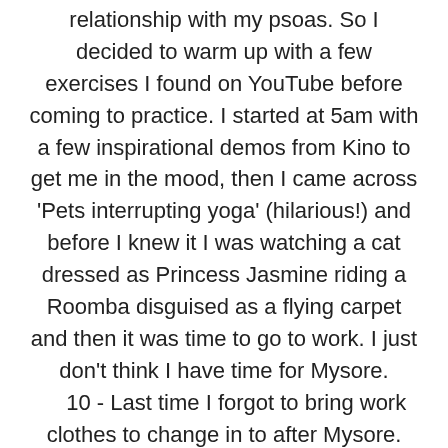relationship with my psoas. So I decided to warm up with a few exercises I found on YouTube before coming to practice. I started at 5am with a few inspirational demos from Kino to get me in the mood, then I came across 'Pets interrupting yoga' (hilarious!) and before I knew it I was watching a cat dressed as Princess Jasmine riding a Roomba disguised as a flying carpet and then it was time to go to work. I just don't think I have time for Mysore. 10 - Last time I forgot to bring work clothes to change in to after Mysore. Immediately afterwards I had a very important meeting and presentation to give that I could not miss under any circumstances. Much to my embarrassment I had no choice but to attend in funky yoga attire. I am now suffering from